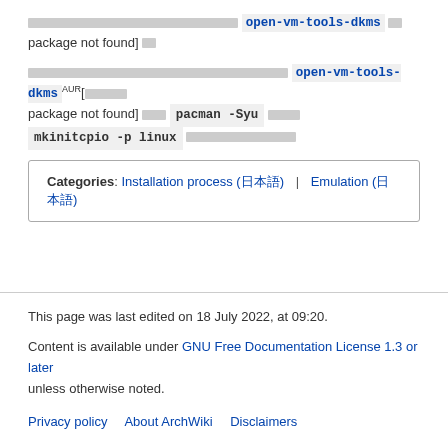[placeholder text] open-vm-tools-dkms package not found] []
[placeholder text] open-vm-tools-dkmsAUR[[placeholder] package not found] [use] pacman -Syu [then] mkinitcpio -p linux [placeholder text]
| Categories |
| --- |
| Installation process (日本語) | Emulation (日本語) |
This page was last edited on 18 July 2022, at 09:20. Content is available under GNU Free Documentation License 1.3 or later unless otherwise noted.
Privacy policy   About ArchWiki   Disclaimers